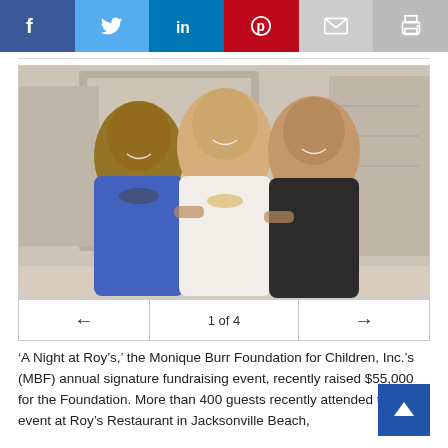[Figure (other): Social media sharing bar with icons for Facebook, Twitter, LinkedIn, Pinterest, email, and print]
[Figure (photo): Three women smiling and posing together at a fundraising event at a boutique/jewelry store. The woman on the left wears a blue top with a chunky black and white beaded necklace, the woman in the center wears white with a large beaded necklace, and the woman on the right wears a black off-shoulder top.]
1 of 4
‘A Night at Roy’s,’ the Monique Burr Foundation for Children, Inc.’s (MBF) annual signature fundraising event, recently raised $55,000 for the Foundation. More than 400 guests recently attended the event at Roy’s Restaurant in Jacksonville Beach,